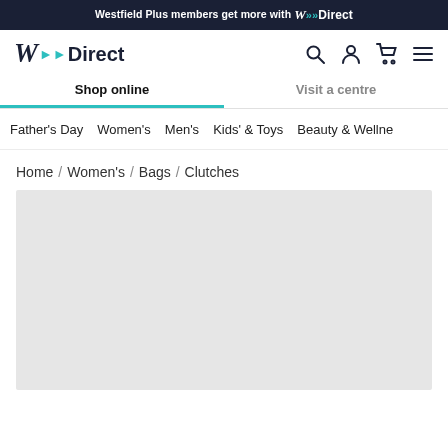Westfield Plus members get more with W Direct
[Figure (logo): W Direct logo with teal chevron arrows]
Shop online | Visit a centre
Father's Day  Women's  Men's  Kids' & Toys  Beauty & Wellne
Home / Women's / Bags / Clutches
[Figure (other): Light grey placeholder image area for Clutches category]